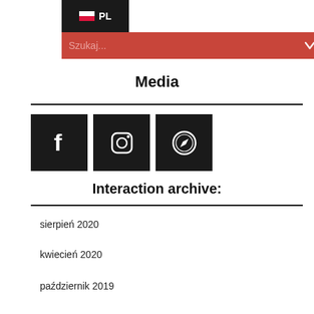PL — Szukaj...
Media
[Figure (screenshot): Three dark square social media icon buttons: Facebook (f), Instagram (camera), and a compass/safari icon]
Interaction archive:
sierpień 2020
kwiecień 2020
październik 2019